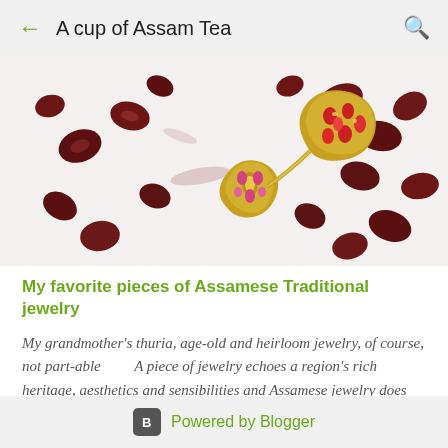A cup of Assam Tea
[Figure (photo): Photo of gold Assamese jewelry pieces with gemstones surrounded by pomegranate seeds on a white background]
My favorite pieces of Assamese Traditional jewelry
My grandmother's thuria, age-old and heirloom jewelry, of course, not part-able       A piece of jewelry echoes a region's rich heritage, aesthetics and sensibilities and Assamese jewelry does not differ from that. A piece of jewelry not just enhances the  ...
Powered by Blogger